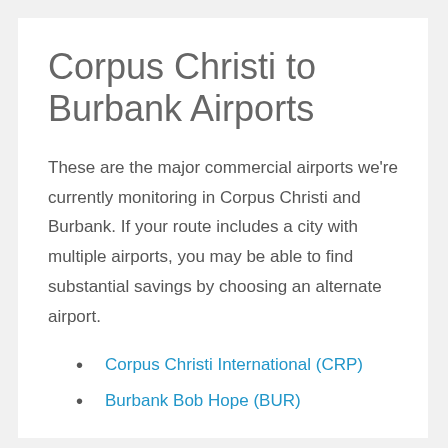Corpus Christi to Burbank Airports
These are the major commercial airports we’re currently monitoring in Corpus Christi and Burbank. If your route includes a city with multiple airports, you may be able to find substantial savings by choosing an alternate airport.
Corpus Christi International (CRP)
Burbank Bob Hope (BUR)